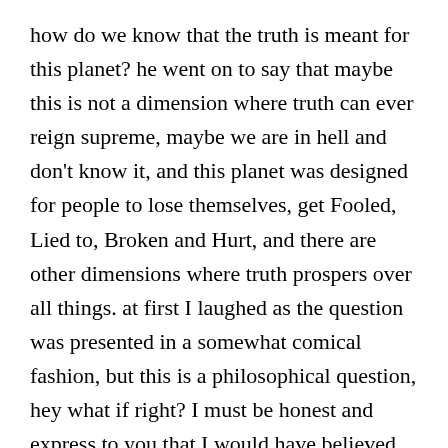how do we know that the truth is meant for this planet? he went on to say that maybe this is not a dimension where truth can ever reign supreme, maybe we are in hell and don't know it, and this planet was designed for people to lose themselves, get Fooled, Lied to, Broken and Hurt, and there are other dimensions where truth prospers over all things. at first I laughed as the question was presented in a somewhat comical fashion, but this is a philosophical question, hey what if right? I must be honest and express to you that I would have believed this theory if and only if I did not know myself. My perception is that in this world we embody the power of choice, we can dictate upon our environment, and anything we can imagine we can make possible thus not deeming